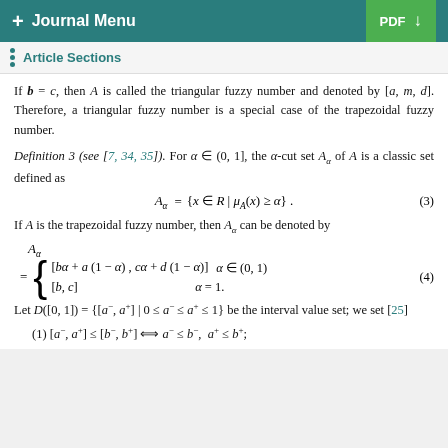+ Journal Menu   PDF ↓
Article Sections
If b = c, then A is called the triangular fuzzy number and denoted by [a, m, d]. Therefore, a triangular fuzzy number is a special case of the trapezoidal fuzzy number.
Definition 3 (see [7, 34, 35]). For α ∈ (0, 1], the α-cut set A_α of A is a classic set defined as
If A is the trapezoidal fuzzy number, then A_α can be denoted by
Let D([0, 1]) = {[a⁻, a⁺] | 0 ≤ a⁻ ≤ a⁺ ≤ 1} be the interval value set; we set [25]
(1) [a⁻, a⁺] ≤ [b⁻, b⁺] ⟺ a⁻ ≤ b⁻, a⁺ ≤ b⁺;